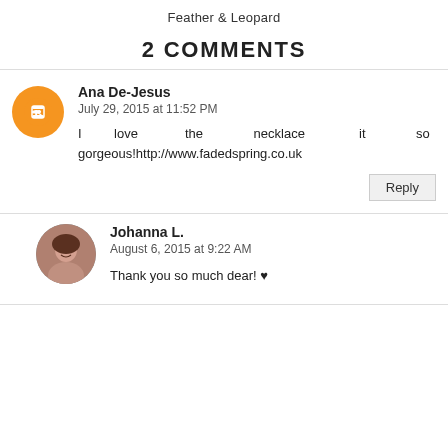Feather & Leopard
2 COMMENTS
Ana De-Jesus
July 29, 2015 at 11:52 PM
I love the necklace it so gorgeous!http://www.fadedspring.co.uk
Reply
Johanna L.
August 6, 2015 at 9:22 AM
Thank you so much dear! ♥